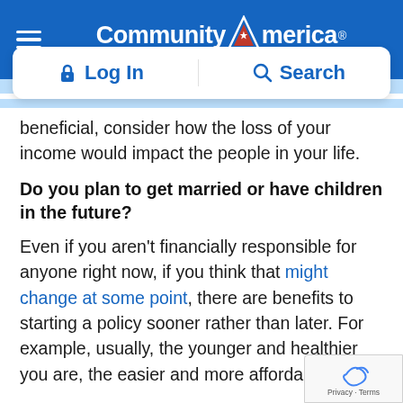CommunityAmerica Credit Union — Log In | Search
beneficial, consider how the loss of your income would impact the people in your life.
Do you plan to get married or have children in the future?
Even if you aren't financially responsible for anyone right now, if you think that might change at some point, there are benefits to starting a policy sooner rather than later. For example, usually, the younger and healthier you are, the easier and more affordable it is